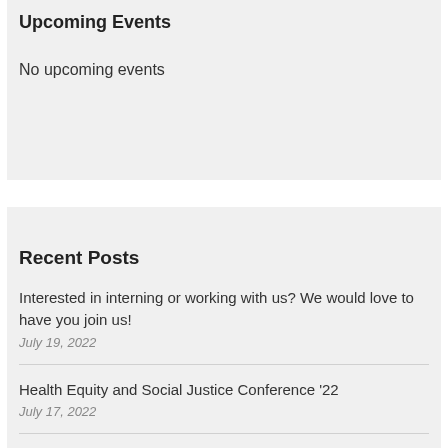Upcoming Events
No upcoming events
Recent Posts
Interested in interning or working with us? We would love to have you join us!
July 19, 2022
Health Equity and Social Justice Conference '22
July 17, 2022
A Workshop Supporting Asian American Mental